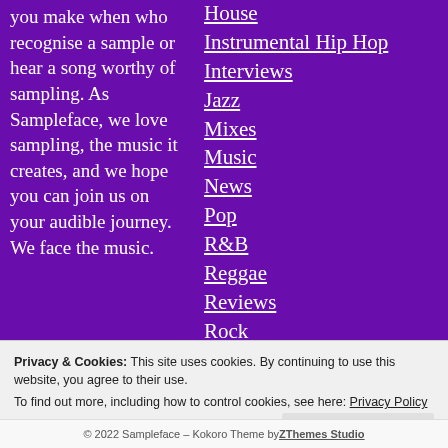you make when who recognise a sample or hear a song worthy of sampling. As Sampleface, we love sampling, the music it creates, and we hope you can join us on your audible journey. We face the music.
House
Instrumental Hip Hop
Interviews
Jazz
Mixes
Music
News
Pop
R&B
Reggae
Reviews
Rock
Sampling
Soul
Privacy & Cookies: This site uses cookies. By continuing to use this website, you agree to their use.
To find out more, including how to control cookies, see here: Privacy Policy
Close and accept
© 2022 Sampleface – Kokoro Theme by ZThemes Studio